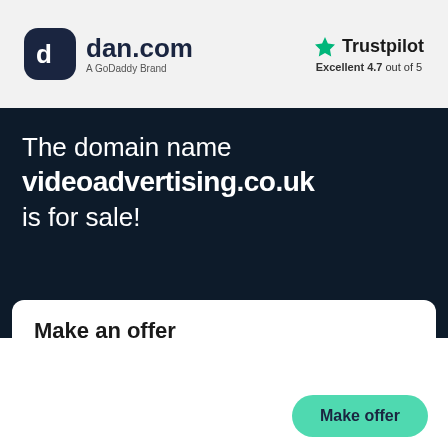[Figure (logo): dan.com logo — dark rounded square icon with stylized 'd' letter, followed by text 'dan.com' and subtitle 'A GoDaddy Brand']
[Figure (logo): Trustpilot logo — green star icon followed by 'Trustpilot' text and rating 'Excellent 4.7 out of 5']
The domain name
videoadvertising.co.uk
is for sale!
Make an offer
Make offer